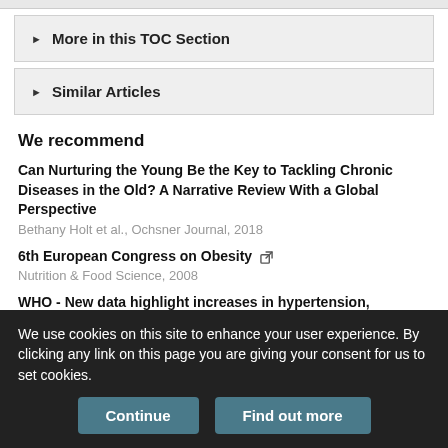More in this TOC Section
Similar Articles
We recommend
Can Nurturing the Young Be the Key to Tackling Chronic Diseases in the Old? A Narrative Review With a Global Perspective
Bethany Holt et al., Ochsner Journal, 2018
6th European Congress on Obesity
Nutrition & Food Science, 2008
WHO - New data highlight increases in hypertension, diabetes incidence
International Journal of Health Care Quality Assurance, 2012
We use cookies on this site to enhance your user experience. By clicking any link on this page you are giving your consent for us to set cookies.